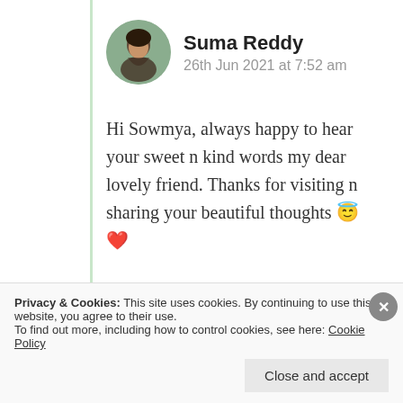[Figure (photo): Circular avatar photo of Suma Reddy]
Suma Reddy
26th Jun 2021 at 7:52 am
Hi Sowmya, always happy to hear your sweet n kind words my dear lovely friend. Thanks for visiting n sharing your beautiful thoughts 😇 ❤
★ Liked by 1 person
Log in to Reply
Privacy & Cookies: This site uses cookies. By continuing to use this website, you agree to their use.
To find out more, including how to control cookies, see here: Cookie Policy
Close and accept